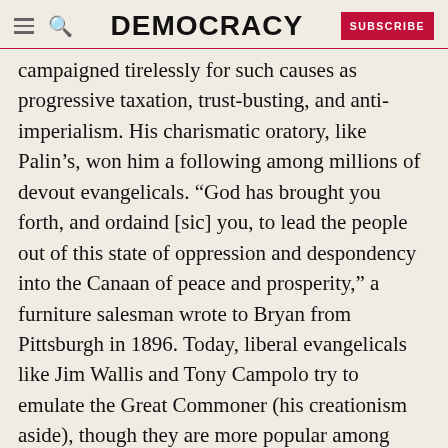DEMOCRACY | SUBSCRIBE
campaigned tirelessly for such causes as progressive taxation, trust-busting, and anti-imperialism. His charismatic oratory, like Palin’s, won him a following among millions of devout evangelicals. “God has brought you forth, and ordaind [sic] you, to lead the people out of this state of oppression and despondency into the Canaan of peace and prosperity,” a furniture salesman wrote to Bryan from Pittsburgh in 1896. Today, liberal evangelicals like Jim Wallis and Tony Campolo try to emulate the Great Commoner (his creationism aside), though they are more popular among Democratic office-holders than with the masses of their coreligionists.